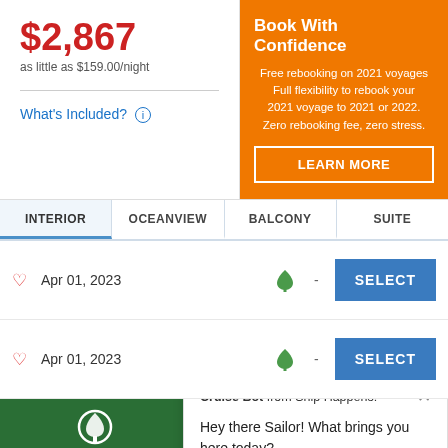$2,867
as little as $159.00/night
What's Included? ℹ
Book With Confidence
Free rebooking on 2021 voyages Full flexibility to rebook your 2021 voyage to 2021 or 2022. Zero rebooking fee, zero stress.
LEARN MORE
INTERIOR
OCEANVIEW
BALCONY
SUITE
Apr 01, 2023 - SELECT
Apr 01, 2023 - SELECT
MAKE
Cruise Bot from Ship Happens!
Hey there Sailor! What brings you here today?
Planted are planting a tree for every